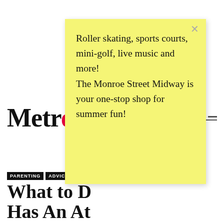[Figure (screenshot): Metro news website screenshot showing parenting article with sticky note overlay]
Metro
PARENTING   ADVICE
What to D... Has An At...
Read about five of the worst offenses and what parents can do when their child commits one or more of them.
By Malia Jacobson | June 6, 2017
Want to be the first to know about local parenting stories and trends? Get the latest info in our
Roller skating, sports courts, mini-golf, live music and more! The Monroe Street Midway is your one-stop shop for summer fun!